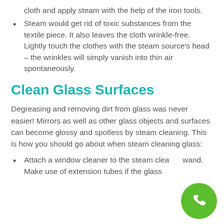cloth and apply steam with the help of the iron tools.
Steam would get rid of toxic substances from the textile piece. It also leaves the cloth wrinkle-free. Lightly touch the clothes with the steam source's head – the wrinkles will simply vanish into thin air spontaneously.
Clean Glass Surfaces
Degreasing and removing dirt from glass was never easier! Mirrors as well as other glass objects and surfaces can become glossy and spotless by steam cleaning. This is how you should go about when steam cleaning glass:
Attach a window cleaner to the steam cleaner wand. Make use of extension tubes if the glass